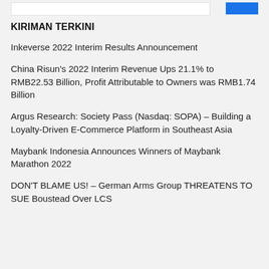KIRIMAN TERKINI
Inkeverse 2022 Interim Results Announcement
China Risun's 2022 Interim Revenue Ups 21.1% to RMB22.53 Billion, Profit Attributable to Owners was RMB1.74 Billion
Argus Research: Society Pass (Nasdaq: SOPA) – Building a Loyalty-Driven E-Commerce Platform in Southeast Asia
Maybank Indonesia Announces Winners of Maybank Marathon 2022
DON'T BLAME US! – German Arms Group THREATENS TO SUE Boustead Over LCS